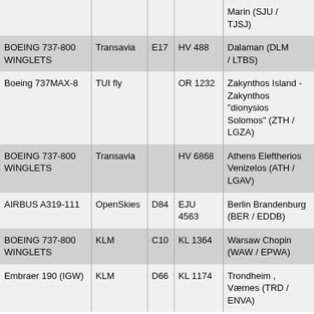| Aircraft | Operator | Gate | Flight | Destination |
| --- | --- | --- | --- | --- |
|  |  |  |  | Marin (SJU / TJSJ) |
| BOEING 737-800 WINGLETS | Transavia | E17 | HV 488 | Dalaman (DLM / LTBS) |
| Boeing 737MAX-8 | TUI fly |  | OR 1232 | Zakynthos Island - Zakynthos "dionysios Solomos" (ZTH / LGZA) |
| BOEING 737-800 WINGLETS | Transavia |  | HV 6868 | Athens Eleftherios Venizelos (ATH / LGAV) |
| AIRBUS A319-111 | OpenSkies | D84 | EJU 4563 | Berlin Brandenburg (BER / EDDB) |
| BOEING 737-800 WINGLETS | KLM | C10 | KL 1364 | Warsaw Chopin (WAW / EPWA) |
| Embraer 190 (IGW) | KLM | D66 | KL 1174 | Trondheim ,Værnes (TRD / ENVA) |